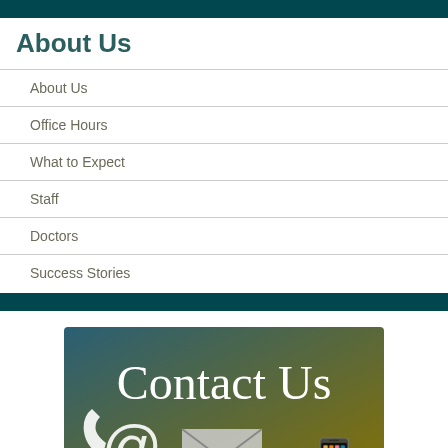About Us
About Us
Office Hours
What to Expect
Staff
Doctors
Success Stories
[Figure (illustration): Contact Us banner image with email, phone, and letter icons on a teal-to-gold gradient background with white serif 'Contact Us' text]